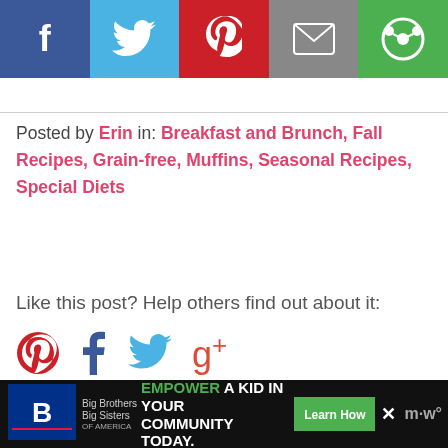[Figure (other): Social media share buttons bar: Facebook (blue), Twitter (light blue), Pinterest (red), Email (gray), Other (green)]
Posted by Erin in: Breakfast and Brunch, Fall Recipes, Grain-free, Muffins, Seasonal Recipes, Special Diets
Like this post? Help others find out about it:
[Figure (other): Social sharing icons: Pinterest, Facebook, Twitter, Google+]
Recommended Posts
[Figure (photo): Photo of chocolate mousse cups with fresh raspberries]
[Figure (photo): Photo of chocolate cookies/muffins with a Scroll to top overlay]
[Figure (other): Advertisement banner: Big Brothers Big Sisters logo, EMPOWER A KID IN YOUR COMMUNITY TODAY., Learn How button]